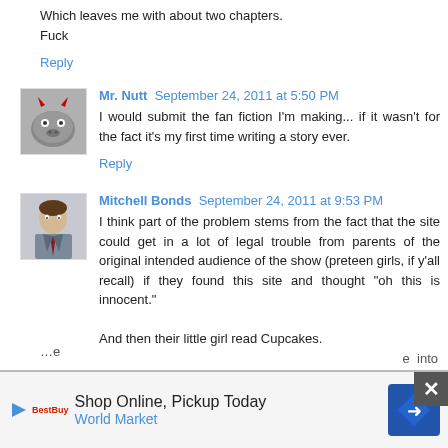Which leaves me with about two chapters.
Fuck
Reply
Mr. Nutt  September 24, 2011 at 5:50 PM
I would submit the fan fiction I'm making... if it wasn't for the fact it's my first time writing a story ever.
Reply
Mitchell Bonds  September 24, 2011 at 9:53 PM
I think part of the problem stems from the fact that the site could get in a lot of legal trouble from parents of the original intended audience of the show (preteen girls, if y'all recall) if they found this site and thought "oh this is innocent."

And then their little girl read Cupcakes.
[Figure (infographic): Advertisement banner: Shop Online, Pickup Today - World Market, with navigation arrow icon and close button]